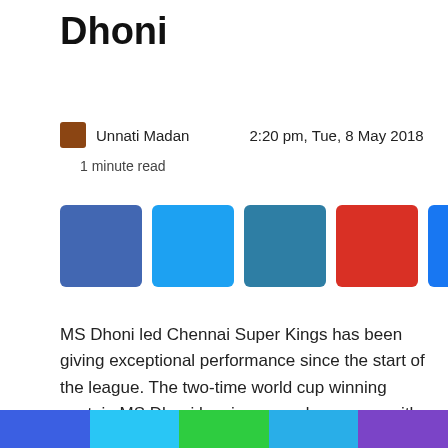Dhoni
Unnati Madan    2:20 pm, Tue, 8 May 2018
1 minute read
[Figure (other): Row of social media share buttons: Facebook (blue), Twitter (light blue), LinkedIn (teal), Google+ (red), Share (blue), WhatsApp (green), More (dark grey)]
MS Dhoni led Chennai Super Kings has been giving exceptional performance since the start of the league. The two-time world cup winning captain MS Dhoni has impressed everyone with his captaincy and batting once again. The team has won seven matches out of the ten they have played till now.
https://www.instagram.com/p/BiCPBQPlZt9/?taken-